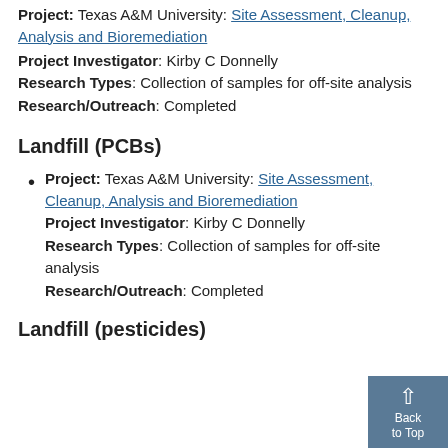Project: Texas A&M University: Site Assessment, Cleanup, Analysis and Bioremediation
Project Investigator: Kirby C Donnelly
Research Types: Collection of samples for off-site analysis
Research/Outreach: Completed
Landfill (PCBs)
Project: Texas A&M University: Site Assessment, Cleanup, Analysis and Bioremediation
Project Investigator: Kirby C Donnelly
Research Types: Collection of samples for off-site analysis
Research/Outreach: Completed
Landfill (pesticides)